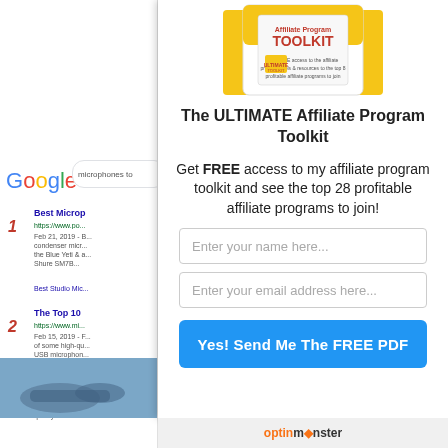[Figure (screenshot): Google search results page (partial, left panel) showing search for 'microphones to' with 3 results: Best Microphones, The Top 10, The 13 Best]
[Figure (screenshot): Popup/modal overlay with toolkit product image (white box with TOOLKIT text on yellow background), title, description, email opt-in form, and send button]
The ULTIMATE Affiliate Program Toolkit
Get FREE access to my affiliate program toolkit and see the top 28 profitable affiliate programs to join!
[Figure (screenshot): OptinMonster branding bar at bottom]